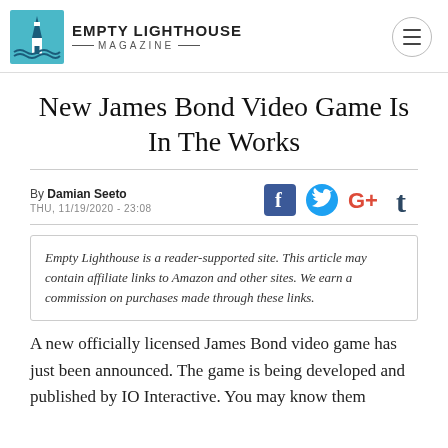EMPTY LIGHTHOUSE MAGAZINE
New James Bond Video Game Is In The Works
By Damian Seeto
THU, 11/19/2020 - 23:08
Empty Lighthouse is a reader-supported site. This article may contain affiliate links to Amazon and other sites. We earn a commission on purchases made through these links.
A new officially licensed James Bond video game has just been announced. The game is being developed and published by IO Interactive. You may know them